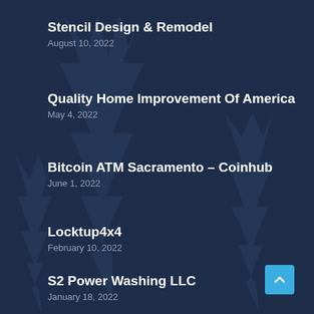Stencil Design & Remodel
August 10, 2022
Quality Home Improvement Of America
May 4, 2022
Bitcoin ATM Sacramento – Coinhub
June 1, 2022
Locktup4x4
February 10, 2022
S2 Power Washing LLC
January 18, 2022